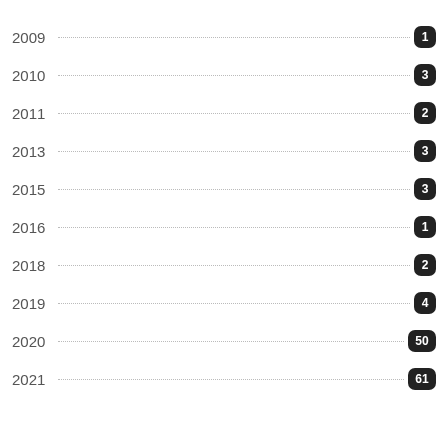2009
2010
2011
2013
2015
2016
2018
2019
2020
2021